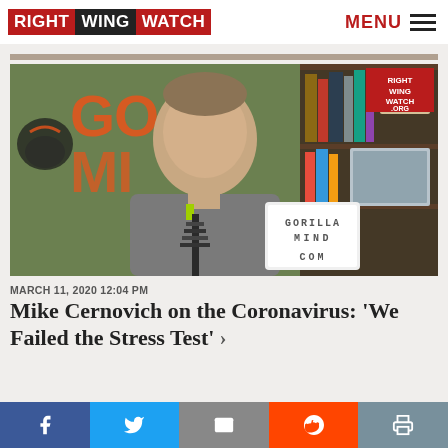RIGHT WING WATCH | MENU
[Figure (photo): Man smiling in front of a Gorilla Mind branded background, holding a sign that reads GORILLA MIND COM. A bookshelf is visible to the right. Right Wing Watch watermark in top-right corner.]
MARCH 11, 2020 12:04 PM
Mike Cernovich on the Coronavirus: 'We Failed the Stress Test' >